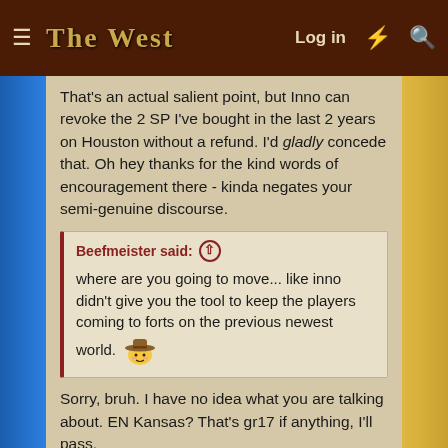THE WEST — Log in
That's an actual salient point, but Inno can revoke the 2 SP I've bought in the last 2 years on Houston without a refund. I'd gladly concede that. Oh hey thanks for the kind words of encouragement there - kinda negates your semi-genuine discourse.
Beefmeister said: where are you going to move... like inno didn't give you the tool to keep the players coming to forts on the previous newest world.
Sorry, bruh. I have no idea what you are talking about. EN Kansas? That's gr17 if anything, I'll pass.
Thanks for the feedback mate, I think. It is truly sad that there are players out there that refuse to invision how the current EN worlds could be re-organized into something better like @lulumcnoob has so adroitly laid out in the past. I think first